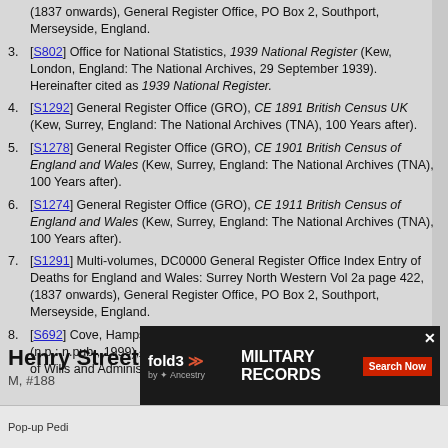(1837 onwards), General Register Office, PO Box 2, Southport, Merseyside, England.
[S802] Office for National Statistics, 1939 National Register (Kew, London, England: The National Archives, 29 September 1939). Hereinafter cited as 1939 National Register.
[S1292] General Register Office (GRO), CE 1891 British Census UK (Kew, Surrey, England: The National Archives (TNA), 100 Years after).
[S1278] General Register Office (GRO), CE 1901 British Census of England and Wales (Kew, Surrey, England: The National Archives (TNA), 100 Years after).
[S1274] General Register Office (GRO), CE 1911 British Census of England and Wales (Kew, Surrey, England: The National Archives (TNA), 100 Years after).
[S1291] Multi-volumes, DC0000 General Register Office Index Entry of Deaths for England and Wales: Surrey North Western Vol 2a page 422, (1837 onwards), General Register Office, PO Box 2, Southport, Merseyside, England.
[S692] Cove, Hampshire St John the Baptist, BP0339a Mary Ann Tune (n.p.: n.pub., 1999), England & Wales, National Probate Calendar (Index of Wills and Administrations), 1858-1966 about Frederick Street.
Henry Street1
M, #188...
Pop-up Pedi...